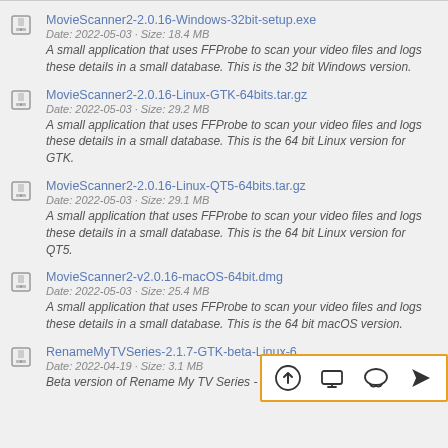MovieScanner2-2.0.16-Windows-32bit-setup.exe
Date: 2022-05-03 · Size: 18.4 MB
A small application that uses FFProbe to scan your video files and logs these details in a small database. This is the 32 bit Windows version.
MovieScanner2-2.0.16-Linux-GTK-64bits.tar.gz
Date: 2022-05-03 · Size: 29.2 MB
A small application that uses FFProbe to scan your video files and logs these details in a small database. This is the 64 bit Linux version for GTK.
MovieScanner2-2.0.16-Linux-QT5-64bits.tar.gz
Date: 2022-05-03 · Size: 29.1 MB
A small application that uses FFProbe to scan your video files and logs these details in a small database. This is the 64 bit Linux version for QT5.
MovieScanner2-v2.0.16-macOS-64bit.dmg
Date: 2022-05-03 · Size: 25.4 MB
A small application that uses FFProbe to scan your video files and logs these details in a small database. This is the 64 bit macOS version.
RenameMyTVSeries-2.1.7-GTK-beta-Linux-6...
Date: 2022-04-19 · Size: 3.1 MB
Beta version of Rename My TV Series - 64 bit Linux GTK install your...